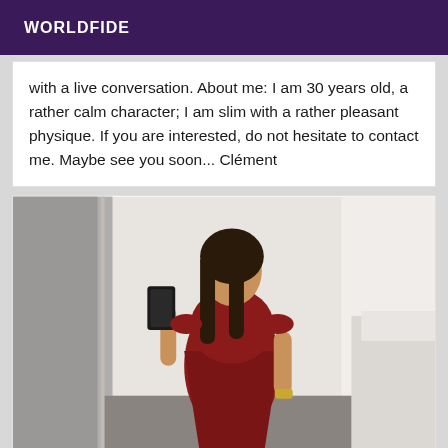WORLDFIDE
with a live conversation. About me: I am 30 years old, a rather calm character; I am slim with a rather pleasant physique. If you are interested, do not hesitate to contact me. Maybe see you soon... Clément
[Figure (photo): A woman in a dark red sleeveless dress taking a mirror selfie, holding a phone, with a bedroom visible in the background.]